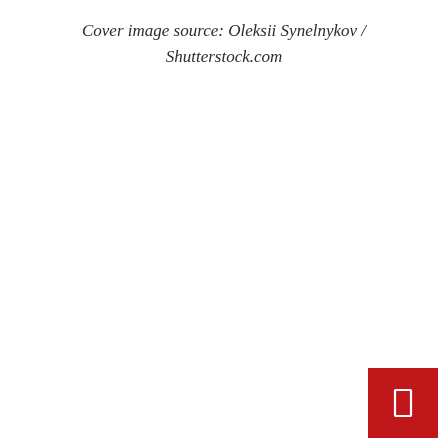Cover image source: Oleksii Synelnykov / Shutterstock.com
[Figure (logo): Red square button with a white rectangle/bookmark icon in the bottom-right corner of the page]